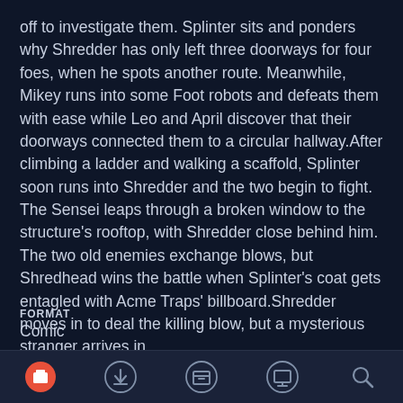off to investigate them. Splinter sits and ponders why Shredder has only left three doorways for four foes, when he spots another route. Meanwhile, Mikey runs into some Foot robots and defeats them with ease while Leo and April discover that their doorways connected them to a circular hallway.After climbing a ladder and walking a scaffold, Splinter soon runs into Shredder and the two begin to fight. The Sensei leaps through a broken window to the structure's rooftop, with Shredder close behind him. The two old enemies exchange blows, but Shredhead wins the battle when Splinter's coat gets entagled with Acme Traps' billboard.Shredder moves in to deal the killing blow, but a mysterious stranger arrives in...
FORMAT
Comic
[Figure (infographic): A horizontal progress bar, approximately 22% filled with blue color, rest is light grey.]
[Figure (infographic): Bottom navigation bar with 5 icons: a red/orange box icon (active), a download icon, a storage/box icon, a display/monitor icon, and a search/magnifying glass icon.]